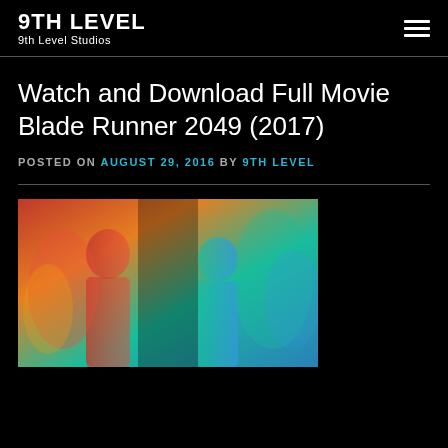9TH LEVEL
9th Level Studios
Watch and Download Full Movie Blade Runner 2049 (2017)
POSTED ON AUGUST 29, 2016 BY 9TH LEVEL
[Figure (photo): Movie poster for Blade Runner 2049 showing two figures against a background of red/orange and teal/blue colors]